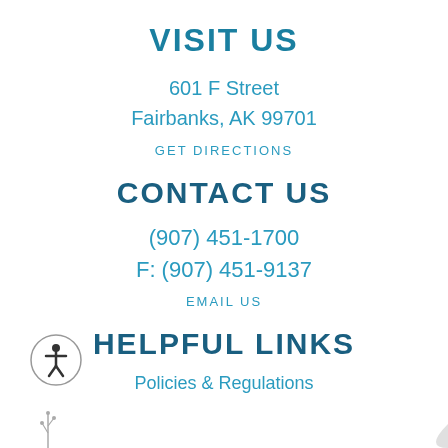VISIT US
601 F Street
Fairbanks, AK 99701
GET DIRECTIONS
CONTACT US
(907) 451-1700
F: (907) 451-9137
EMAIL US
HELPFUL LINKS
Policies & Regulations